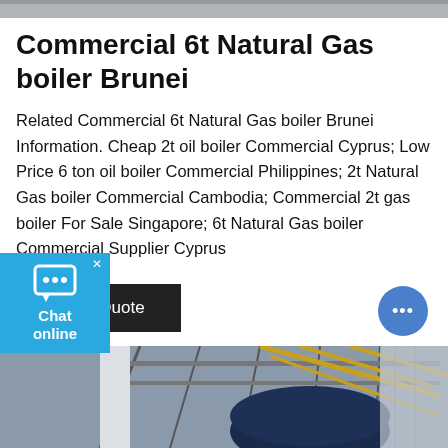[Figure (photo): Top partial image of industrial boiler equipment, cropped]
Commercial 6t Natural Gas boiler Brunei
Related Commercial 6t Natural Gas boiler Brunei Information. Cheap 2t oil boiler Commercial Cyprus; Low Price 6 ton oil boiler Commercial Philippines; 2t Natural Gas boiler Commercial Cambodia; Commercial 2t gas boiler For Sale Singapore; 6t Natural Gas boiler Commercial Supplier Cyprus
[Figure (other): Dark charcoal button labeled Get a Quote]
[Figure (photo): Bottom partial photo of industrial natural gas boiler facility interior with blue boiler drum and yellow piping]
[Figure (other): Floating chat widget with speech bubble icon and Chat online label on blue background]
[Figure (other): Floating round chat bubble button with three dots on the right side]